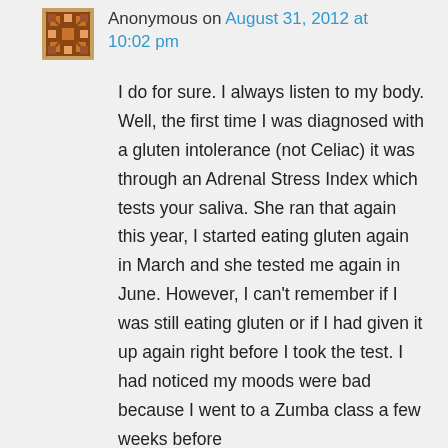Anonymous on August 31, 2012 at 10:02 pm
I do for sure. I always listen to my body. Well, the first time I was diagnosed with a gluten intolerance (not Celiac) it was through an Adrenal Stress Index which tests your saliva. She ran that again this year, I started eating gluten again in March and she tested me again in June. However, I can't remember if I was still eating gluten or if I had given it up again right before I took the test. I had noticed my moods were bad because I went to a Zumba class a few weeks before